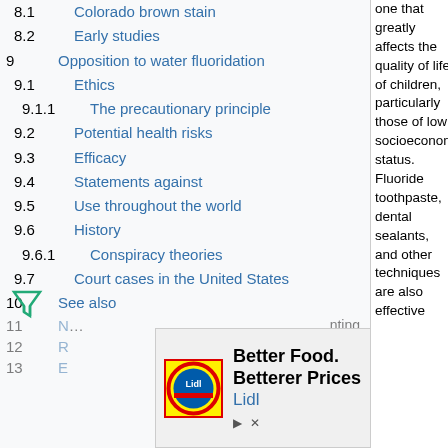8.1  Colorado brown stain
8.2  Early studies
9  Opposition to water fluoridation
9.1  Ethics
9.1.1  The precautionary principle
9.2  Potential health risks
9.3  Efficacy
9.4  Statements against
9.5  Use throughout the world
9.6  History
9.6.1  Conspiracy theories
9.7  Court cases in the United States
10  See also
11  N...
12  R...
13  E...
one that greatly affects the quality of life of children, particularly those of low socioeconomic status. Fluoride toothpaste, dental sealants, and other techniques are also effective
[Figure (infographic): Advertisement banner for Lidl: 'Better Food. Betterer Prices' with Lidl logo and navigation arrow icon. Also shows filter/funnel icon and ad controls.]